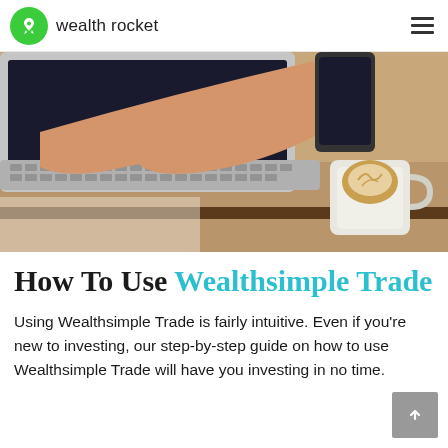wealth rocket
[Figure (photo): Person's arm reaching across a wooden desk holding a smartphone, with a laptop keyboard in the background and a white coffee mug with latte art in the foreground.]
How To Use Wealthsimple Trade
Using Wealthsimple Trade is fairly intuitive. Even if you're new to investing, our step-by-step guide on how to use Wealthsimple Trade will have you investing in no time.